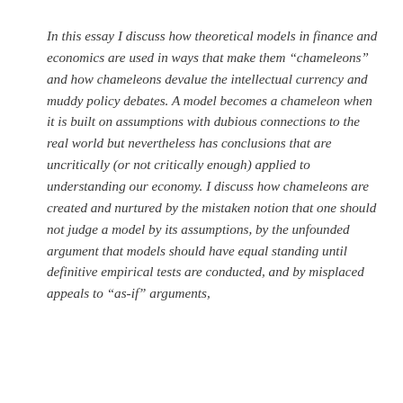In this essay I discuss how theoretical models in finance and economics are used in ways that make them “chameleons” and how chameleons devalue the intellectual currency and muddy policy debates. A model becomes a chameleon when it is built on assumptions with dubious connections to the real world but nevertheless has conclusions that are uncritically (or not critically enough) applied to understanding our economy. I discuss how chameleons are created and nurtured by the mistaken notion that one should not judge a model by its assumptions, by the unfounded argument that models should have equal standing until definitive empirical tests are conducted, and by misplaced appeals to “as-if” arguments,